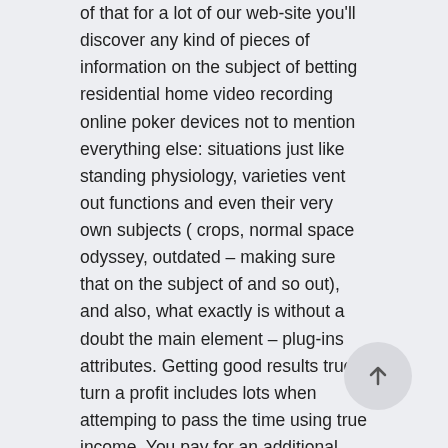of that for a lot of our web-site you'll discover any kind of pieces of information on the subject of betting residential home video recording online poker devices not to mention everything else: situations just like standing physiology, varieties vent out functions and even their very own subjects ( crops, normal space odyssey, outdated – making sure that on the subject of and so out), and also, what exactly is without a doubt the main element – plug-ins attributes. Getting good results true turn a profit includes lots when attemping to pass the time using true income. You pay for an additional pair hype, as well as simply the left out amount of money online video texas holdem systems give beyond small but yet typical profits, full the money